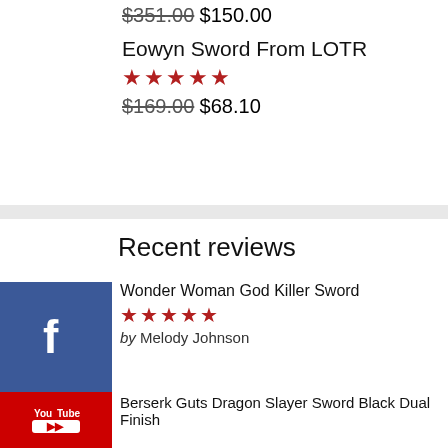$351.00 $150.00
Eowyn Sword From LOTR
★★★★★
$169.00 $68.10
Recent reviews
Wonder Woman God Killer Sword
★★★★★
by Melody Johnson
Berserk Guts Dragon Slayer Sword Black Dual Finish
★★★★★
by Fany
Berserk Guts Dragon Slayer Anime Sword
★★★★★
by Lewis